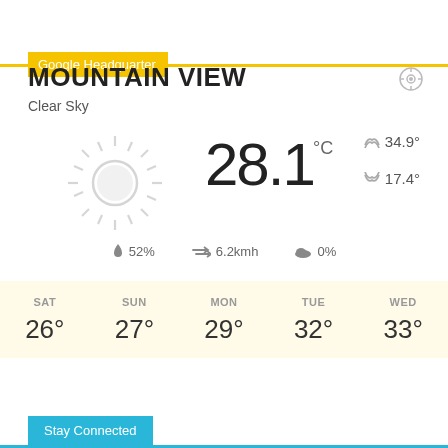Google Headquarter
MOUNTAIN VIEW
Clear Sky
[Figure (illustration): Sun icon with rays, light gray/white, weather widget style]
28.1 °C
▲ 34.9°
▼ 17.4°
💧 52%  ⇄ 6.2kmh  ☁ 0%
| SAT | SUN | MON | TUE | WED |
| --- | --- | --- | --- | --- |
| 26° | 27° | 29° | 32° | 33° |
Stay Connected